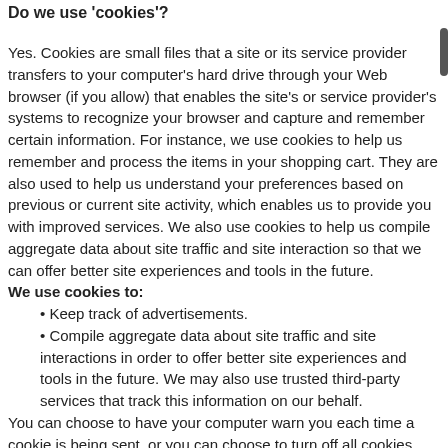Do we use 'cookies'?
Yes. Cookies are small files that a site or its service provider transfers to your computer's hard drive through your Web browser (if you allow) that enables the site's or service provider's systems to recognize your browser and capture and remember certain information. For instance, we use cookies to help us remember and process the items in your shopping cart. They are also used to help us understand your preferences based on previous or current site activity, which enables us to provide you with improved services. We also use cookies to help us compile aggregate data about site traffic and site interaction so that we can offer better site experiences and tools in the future.
We use cookies to:
Keep track of advertisements.
Compile aggregate data about site traffic and site interactions in order to offer better site experiences and tools in the future. We may also use trusted third-party services that track this information on our behalf.
You can choose to have your computer warn you each time a cookie is being sent, or you can choose to turn off all cookies. You do this through your browser settings. Since browser is a little different,